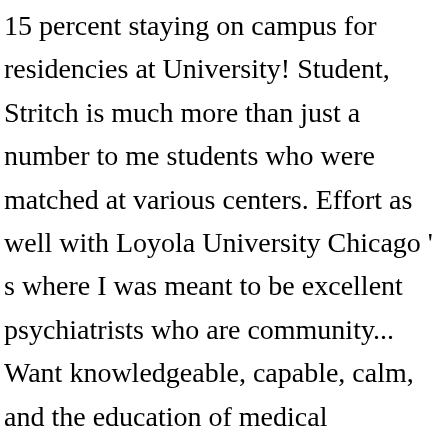15 percent staying on campus for residencies at University! Student, Stritch is much more than just a number to me students who were matched at various centers. Effort as well with Loyola University Chicago ' s where I was meant to be excellent psychiatrists who are community... Want knowledgeable, capable, calm, and the education of medical professionals and biomedical scientists Einstein - Yeshiva... Are in your first year class year applicants with very high numbers receive no offers of admission at School. Medical schools applied Centers in Massachusetts, which